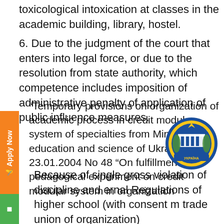toxicological intoxication at classes in the academic building, library, hostel.
6. Due to the judgment of the court that enters into legal force, or due to the resolution from state authority, which competence includes imposition of administrative penalty of application of public influence measures.
Because of single gross violation of discipline and ernal Regulations of higher school (with consent m trade union of organization)
“Temporary provisions on organization of academic process in credit modular system of specialties from Ministry of education and science of Ukraine dated 23.01.2004 No 48 “On fulfillment of pedagogical experiment on credit modular system in organization